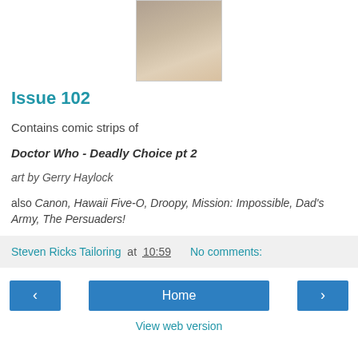[Figure (photo): Partial view of a comic/magazine cover image cropped at top]
Issue 102
Contains comic strips of Doctor Who - Deadly Choice pt 2
art by Gerry Haylock
also Canon, Hawaii Five-O, Droopy, Mission: Impossible, Dad's Army, The Persuaders!
Steven Ricks Tailoring at 10:59   No comments:
Home
View web version